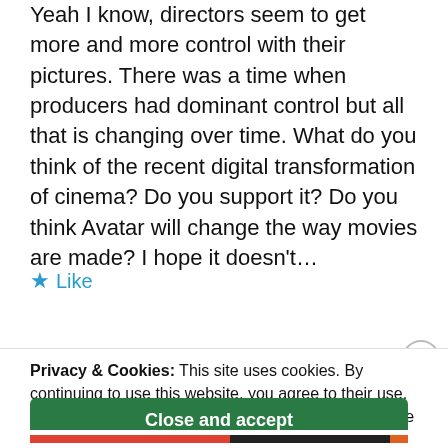Yeah I know, directors seem to get more and more control with their pictures. There was a time when producers had dominant control but all that is changing over time. What do you think of the recent digital transformation of cinema? Do you support it? Do you think Avatar will change the way movies are made? I hope it doesn't…
★ Like
Reply
Privacy & Cookies: This site uses cookies. By continuing to use this website, you agree to their use.
To find out more, including how to control cookies, see here: Cookie Policy
Close and accept